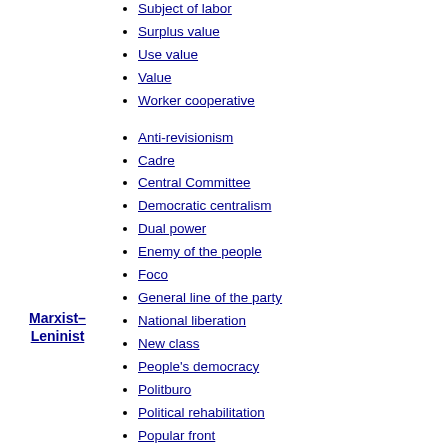Subject of labor
Surplus value
Use value
Value
Worker cooperative
Anti-revisionism
Cadre
Central Committee
Democratic centralism
Dual power
Enemy of the people
Foco
General line of the party
National liberation
New class
People's democracy
Politburo
Political rehabilitation
Popular front
Real socialism
Revisionism
Revolutionary terror
Self-criticism
Socialist accumulation
Socialism in one country
Marxist–Leninist